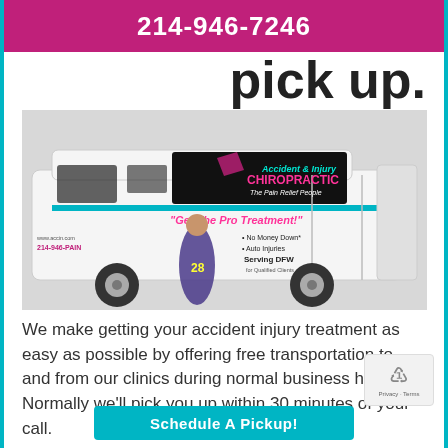214-946-7246
pick up.
[Figure (photo): A white van/shuttle with Accident & Injury Chiropractic branding, including text 'Get The Pro Treatment!', 'No Money Down*', 'Auto Injuries', 'Serving DFW', '214-946-PAIN', 'www.accin.com', and a football player image on the side.]
We make getting your accident injury treatment as easy as possible by offering free transportation to and from our clinics during normal business hours. Normally we'll pick you up within 30 minutes of your call.
Schedule A Pickup!